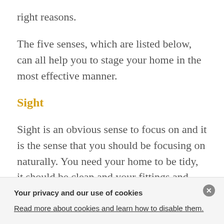right reasons.
The five senses, which are listed below, can all help you to stage your home in the most effective manner.
Sight
Sight is an obvious sense to focus on and it is the sense that you should be focusing on naturally. You need your home to be tidy, it should be clean and your fittings and furniture
Your privacy and our use of cookies
Read more about cookies and learn how to disable them.